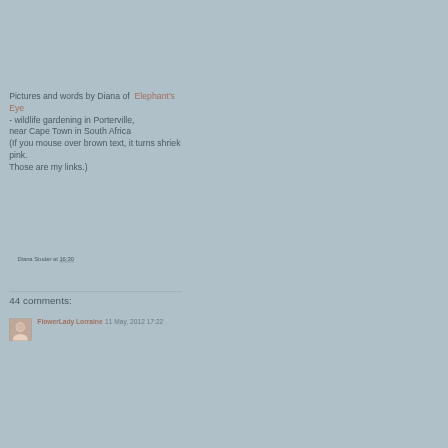Pictures and words by Diana of Elephant's Eye - wildlife gardening in Porterville, near Cape Town in South Africa (If you mouse over brown text, it turns shriek pink. Those are my links.)
Diana Studer at 16:30
Share
44 comments:
FlowerLady Lorraine  11 May, 2012 17:22